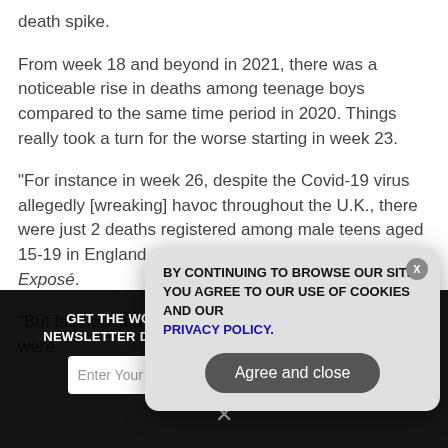death spike.
From week 18 and beyond in 2021, there was a noticeable rise in deaths among teenage boys compared to the same time period in 2020. Things really took a turn for the worse starting in week 23.
"For instance in week 26, despite the Covid-19 virus allegedly [wreaking] havoc throughout the U.K., there were just 2 deaths registered among male teens aged 15-19 in England and Wales," reports the Daily Exposé.
"But fast forward one year and we can see that there were
GET THE WORLD'S MOST INDEPENDENT MEDIA NEWSLETTER DELIVERED STRAIGHT TO YOUR INBOX.
Enter Your Email Address
SUBSCRIBE
BY CONTINUING TO BROWSE OUR SITE YOU AGREE TO OUR USE OF COOKIES AND OUR PRIVACY POLICY.
Agree and close